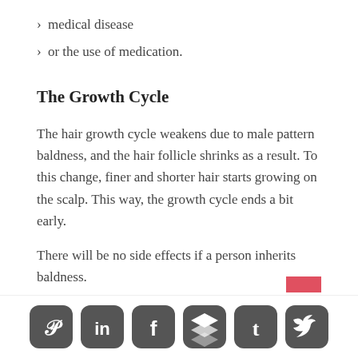> medical disease
> or the use of medication.
The Growth Cycle
The hair growth cycle weakens due to male pattern baldness, and the hair follicle shrinks as a result. To this change, finer and shorter hair starts growing on the scalp. This way, the growth cycle ends a bit early.
There will be no side effects if a person inherits baldness.
On the other hand, baldness often results from serious causes; for example